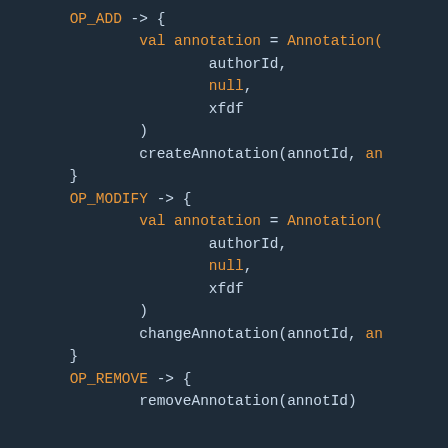[Figure (screenshot): Code editor screenshot showing Kotlin/Scala-like code with a when/match expression handling OP_ADD, OP_MODIFY, and OP_REMOVE cases. Each case creates or modifies an Annotation object with authorId, null, and xfdf parameters, then calls createAnnotation, changeAnnotation, or removeAnnotation respectively. Dark theme editor with orange keywords and light text.]